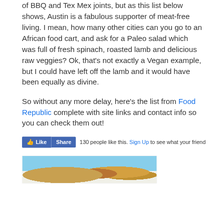of BBQ and Tex Mex joints, but as this list below shows, Austin is a fabulous supporter of meat-free living. I mean, how many other cities can you go to an African food cart, and ask for a Paleo salad which was full of fresh spinach, roasted lamb and delicious raw veggies? Ok, that's not exactly a Vegan example, but I could have left off the lamb and it would have been equally as divine.
So without any more delay, here's the list from Food Republic complete with site links and contact info so you can check them out!
[Figure (screenshot): Facebook Like and Share buttons with '130 people like this. Sign Up to see what your friend' text, followed by a food image thumbnail with cyan/teal background showing baked goods or pastries]